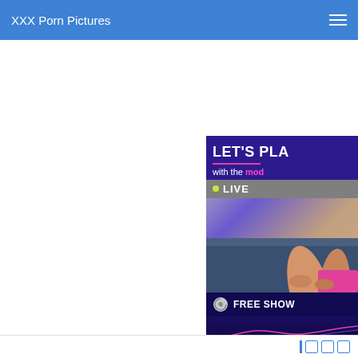XXX Porn Pictures
[Figure (screenshot): Partially visible adult webcam advertisement banner showing 'LET'S PLA...' text, 'with the mod...' subtitle in pink, a LIVE indicator with green dot, a photo of legs on carpet, and a FREE SHOW button with Chaturbate logo]